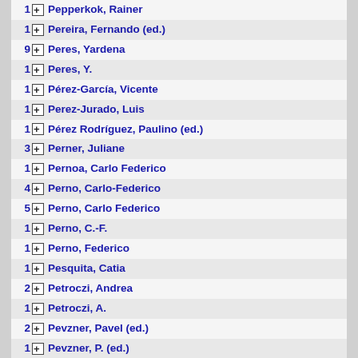1 Pepperkok, Rainer
1 Pereira, Fernando (ed.)
9 Peres, Yardena
1 Peres, Y.
1 Pérez-García, Vicente
1 Perez-Jurado, Luis
1 Pérez Rodríguez, Paulino (ed.)
3 Perner, Juliane
1 Pernoa, Carlo Federico
4 Perno, Carlo-Federico
5 Perno, Carlo Federico
1 Perno, C.-F.
1 Perno, Federico
1 Pesquita, Catia
2 Petroczi, Andrea
1 Petroczi, A.
2 Pevzner, Pavel (ed.)
1 Pevzner, P. (ed.)
1 Peyton, Michael
1 Pfeifer, Martin
13 Pfeifer, Nico
1 Pfeifer, Susanne